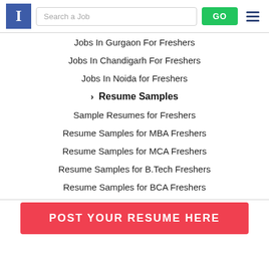[Figure (screenshot): Website header with logo 'I', search bar labeled 'Search a Job', green GO button, and hamburger menu icon]
Jobs In Gurgaon For Freshers
Jobs In Chandigarh For Freshers
Jobs In Noida for Freshers
› Resume Samples
Sample Resumes for Freshers
Resume Samples for MBA Freshers
Resume Samples for MCA Freshers
Resume Samples for B.Tech Freshers
Resume Samples for BCA Freshers
POST YOUR RESUME HERE